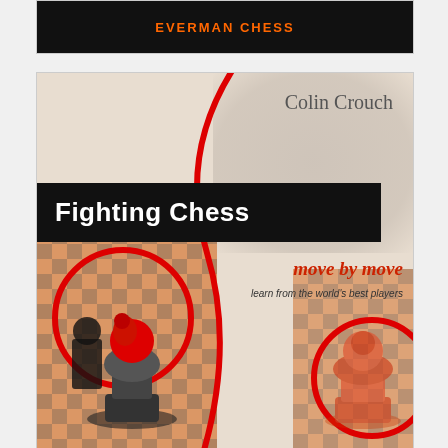[Figure (photo): Top portion of an Everman Chess book cover shown in a white card with dark background and orange 'EVERMAN CHESS' text]
[Figure (photo): Book cover for 'Fighting Chess move by move' by Colin Crouch, published by Everman Chess. Cover shows chess pieces on a board with red circular highlights, a large black banner with white bold text 'Fighting Chess', red italic subtitle 'move by move', and tagline 'learn from the world's best players']